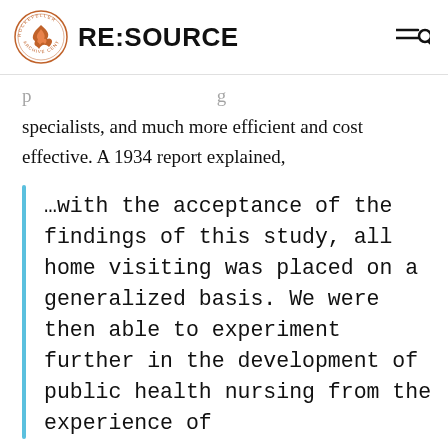RE:SOURCE
specialists, and much more efficient and cost effective. A 1934 report explained,
…with the acceptance of the findings of this study, all home visiting was placed on a generalized basis. We were then able to experiment further in the development of public health nursing from the experience of the…